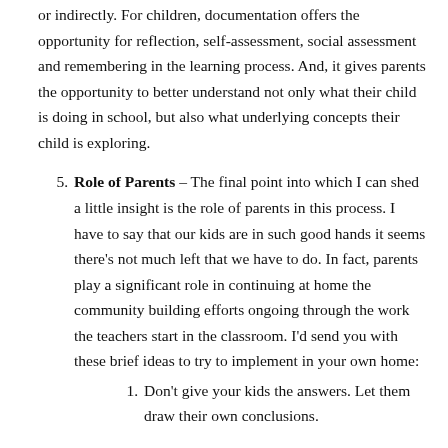or indirectly. For children, documentation offers the opportunity for reflection, self-assessment, social assessment and remembering in the learning process. And, it gives parents the opportunity to better understand not only what their child is doing in school, but also what underlying concepts their child is exploring.
5. Role of Parents – The final point into which I can shed a little insight is the role of parents in this process. I have to say that our kids are in such good hands it seems there's not much left that we have to do. In fact, parents play a significant role in continuing at home the community building efforts ongoing through the work the teachers start in the classroom. I'd send you with these brief ideas to try to implement in your own home:
1. Don't give your kids the answers. Let them draw their own conclusions.